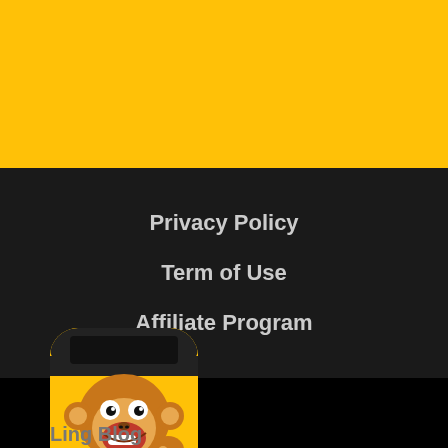[Figure (illustration): Yellow banner/header band at the top of the page]
Privacy Policy
Term of Use
Affiliate Program
[Figure (logo): Ling app logo: cartoon monkey with graduation cap on yellow rounded square background]
Ling Blog